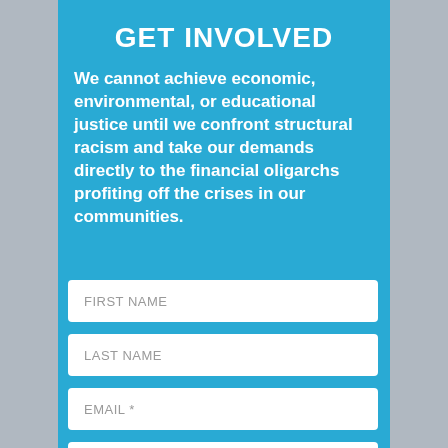GET INVOLVED
We cannot achieve economic, environmental, or educational justice until we confront structural racism and take our demands directly to the financial oligarchs profiting off the crises in our communities.
FIRST NAME
LAST NAME
EMAIL *
CITY